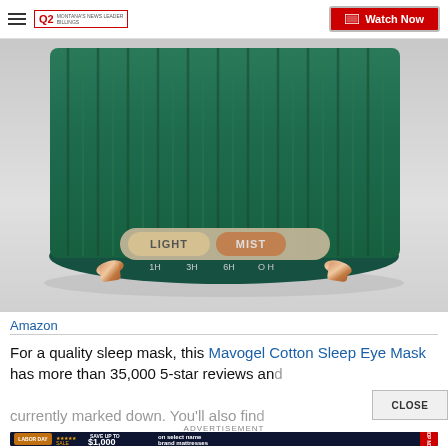Q2 MONTANA'S NEWS LEADER | Watch Now
[Figure (photo): Close-up photo of a green cylindrical humidifier/diffuser device with ribbed texture, rose gold feet, and control panel showing LIGHT and MIST buttons with timer options 1H, 3H, 6H on a light gray background]
Amazon
For a quality sleep mask, this Mavogel Cotton Sleep Eye Mask has more than 35,000 5-star reviews and currently marked down. You'll also find weighted eye masks and heated eye masks. Browse...
ADVERTISEMENT
[Figure (screenshot): Advertisement banner: Labor Day Sale - Save up to $1,000 on select name brand mattresses. Shop Now.]